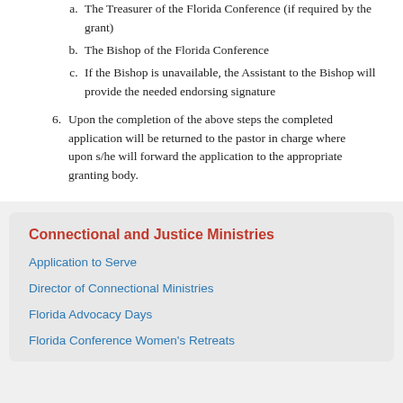a. The Treasurer of the Florida Conference (if required by the grant)
b. The Bishop of the Florida Conference
c. If the Bishop is unavailable, the Assistant to the Bishop will provide the needed endorsing signature
6. Upon the completion of the above steps the completed application will be returned to the pastor in charge where upon s/he will forward the application to the appropriate granting body.
Connectional and Justice Ministries
Application to Serve
Director of Connectional Ministries
Florida Advocacy Days
Florida Conference Women's Retreats